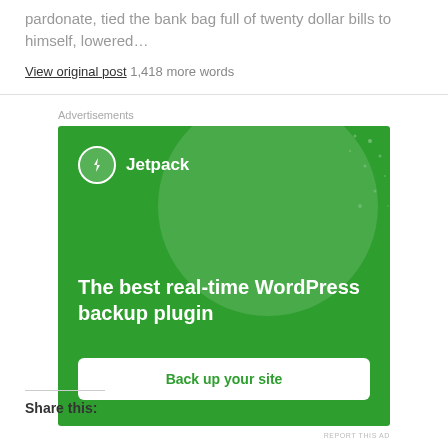pardonate, tied the bank bag full of twenty dollar bills to himself, lowered…
View original post 1,418 more words
Advertisements
[Figure (illustration): Jetpack advertisement banner with green background. Shows Jetpack logo (lightning bolt in circle) and tagline 'The best real-time WordPress backup plugin' with 'Back up your site' button.]
REPORT THIS AD
Share this: